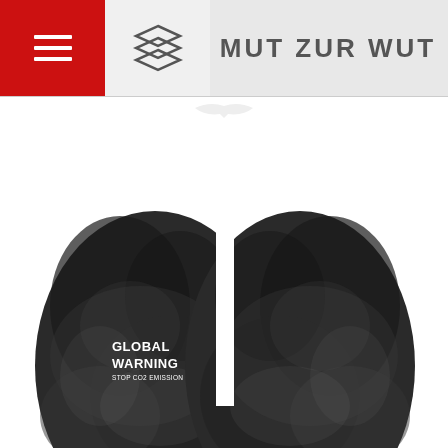MUT ZUR WUT
[Figure (illustration): Black and white illustration depicting a pair of human lungs shaped from dark smoky texture, with a factory chimney in the center emitting white smoke forming a bird/dove silhouette. Text on image reads 'GLOBAL WARNING STOP CO2 EMISSION']